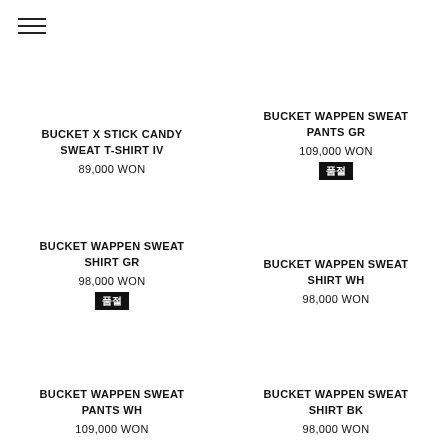[Figure (other): Hamburger menu icon (three horizontal lines)]
BUCKET X STICK CANDY SWEAT T-SHIRT IV
89,000 WON
BUCKET WAPPEN SWEAT PANTS GR
109,000 WON
품절
BUCKET WAPPEN SWEAT SHIRT GR
98,000 WON
품절
BUCKET WAPPEN SWEAT SHIRT WH
98,000 WON
BUCKET WAPPEN SWEAT PANTS WH
109,000 WON
BUCKET WAPPEN SWEAT SHIRT BK
98,000 WON